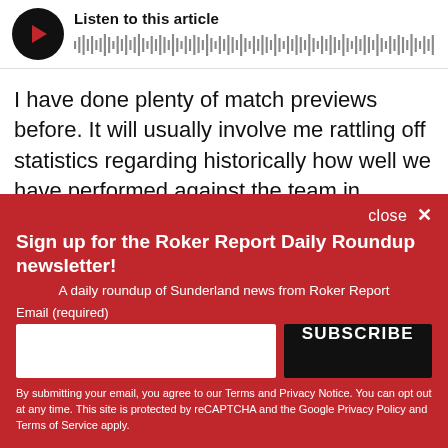[Figure (other): Audio player with play button (black circle with red play icon) and waveform, titled 'Listen to this article']
I have done plenty of match previews before. It will usually involve me rattling off statistics regarding historically how well we have performed against the team in question, who scored the goals in past meetings and who's in form for either side. Don't get
[Figure (other): Newsletter signup overlay with red background. Title: 'Sign up for the Roker Report Daily Roundup newsletter!'. Subtitle: 'A daily roundup of Sunderland news from Roker Report'. Email input field and SUBSCRIBE button. Legal text about Terms, Privacy Notice, reCAPTCHA, Google Privacy Policy and Terms of Service.]